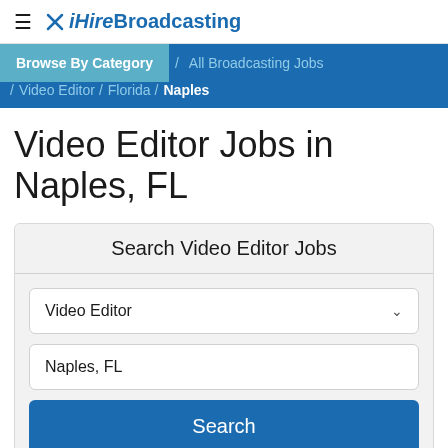≡ iHireBroadcasting
Browse By Category / All Broadcasting Jobs / Video Editor / Florida / Naples
Video Editor Jobs in Naples, FL
Search Video Editor Jobs
Video Editor
Naples, FL
Search